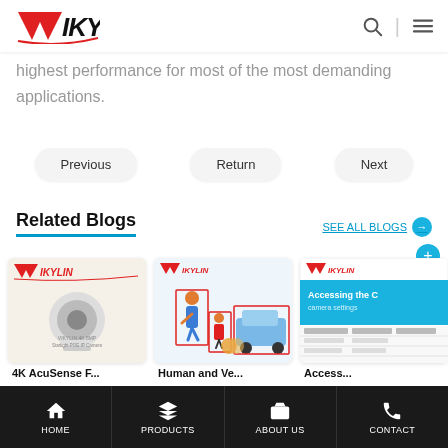VIKYLIN — navigation bar with search and menu icons
highest performance for most of the most demanding applications.
Previous
Return
Next
Related Blogs
SEE ALL BLOGS →
[Figure (photo): Blog card thumbnail: 4K AcuSense F... — Vikylin dome camera product image on light background]
4K AcuSense F...
[Figure (illustration): Blog card thumbnail: Human and Ve... — illustration of person and car with detection bounding boxes]
Human and Ve...
[Figure (screenshot): Blog card thumbnail: Access... — screenshot showing Access Alarm interface with table]
Access...
HOME | PRODUCTS | ABOUT US | CONTACT